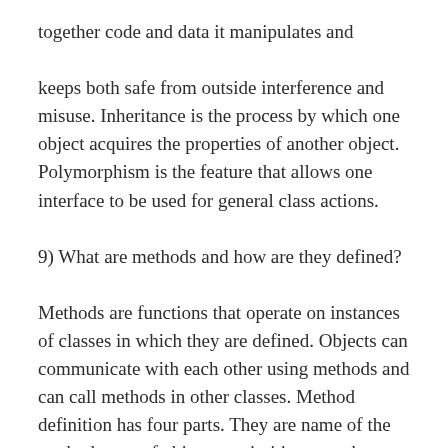together code and data it manipulates and
keeps both safe from outside interference and misuse. Inheritance is the process by which one object acquires the properties of another object. Polymorphism is the feature that allows one interface to be used for general class actions.
9) What are methods and how are they defined?
Methods are functions that operate on instances of classes in which they are defined. Objects can communicate with each other using methods and can call methods in other classes. Method definition has four parts. They are name of the method, type of object or primitive type the